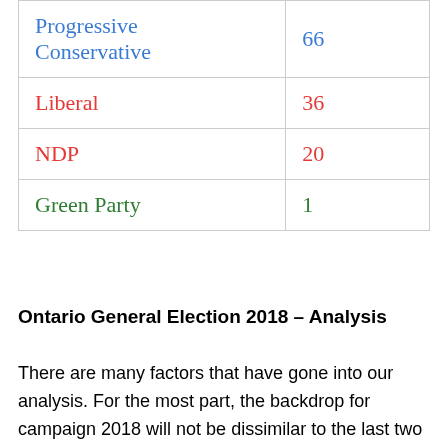| Party | Seats |
| --- | --- |
| Progressive Conservative | 66 |
| Liberal | 36 |
| NDP | 20 |
| Green Party | 1 |
Ontario General Election 2018 – Analysis
There are many factors that have gone into our analysis. For the most part, the backdrop for campaign 2018 will not be dissimilar to the last two elections. Many independent variables played a role in 2011 and 2014 and will again in 2018. Campaigns matter and specifically the leaders' campaigns will hold the spotlights and they themselves will present the biggest